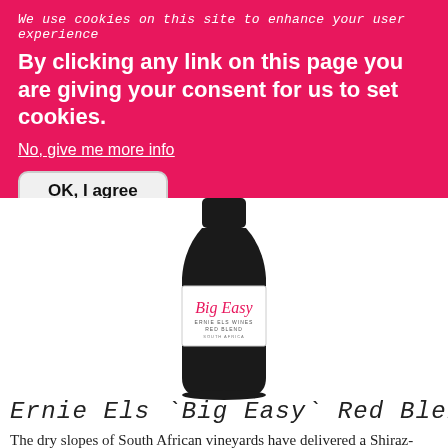We use cookies on this site to enhance your user experience
By clicking any link on this page you are giving your consent for us to set cookies.
No, give me more info
OK, I agree
[Figure (photo): A wine bottle of Ernie Els Big Easy Red Blend 2018 with a white label showing 'Big Easy' in pink script lettering]
Ernie Els `Big Easy` Red Blend 2018
The dry slopes of South African vineyards have delivered a Shiraz-